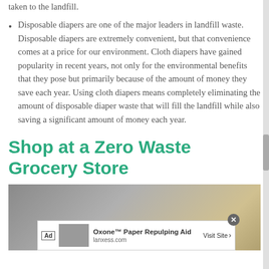taken to the landfill.
Disposable diapers are one of the major leaders in landfill waste. Disposable diapers are extremely convenient, but that convenience comes at a price for our environment. Cloth diapers have gained popularity in recent years, not only for the environmental benefits that they pose but primarily because of the amount of money they save each year. Using cloth diapers means completely eliminating the amount of disposable diaper waste that will fill the landfill while also saving a significant amount of money each year.
Shop at a Zero Waste Grocery Store
[Figure (photo): Blurred interior of a grocery store or warehouse with wooden crates and shelving visible in background. An advertisement overlay appears at the bottom: 'Oxone™ Paper Repulping Aid' from lanxess.com with a 'Visit Site' button.]